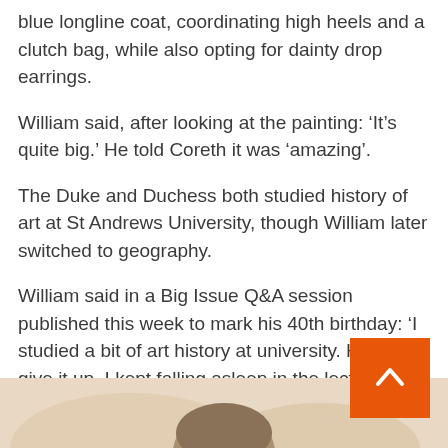blue longline coat, coordinating high heels and a clutch bag, while also opting for dainty drop earrings.
William said, after looking at the painting: ‘It’s quite big.’ He told Coreth it was ‘amazing’.
The Duke and Duchess both studied history of art at St Andrews University, though William later switched to geography.
William said in a Big Issue Q&A session published this week to mark his 40th birthday: ‘I studied a bit of art history at university. Had to give it up. I kept falling asleep in the lectures. Terrible.
‘We did a lot of Renaissance, which was amazing. But then once we got into modern art, I started to get a bit dozy.”
[Figure (photo): Top of a person's head visible at the bottom of the page, against a warm beige/tan background]